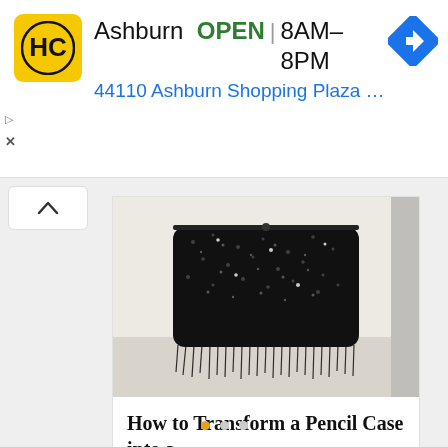[Figure (screenshot): Ad banner for HC (Harris Capital or similar) store in Ashburn showing logo, OPEN status, hours 8AM-8PM, address 44110 Ashburn Shopping Plaza 190, A..., and navigation arrow icon]
Ashburn  OPEN | 8AM–8PM
44110 Ashburn Shopping Plaza 190, A...
[Figure (photo): Black sequin/feather pencil case clutch bag on white background]
How to Transform a Pencil Case into a...
0  1 ♥